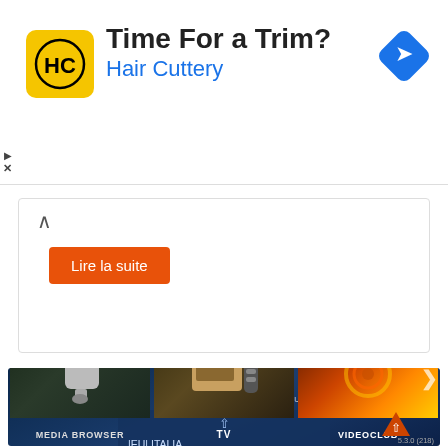[Figure (screenshot): Hair Cuttery advertisement banner with yellow logo showing HC letters, title 'Time For a Trim?', subtitle 'Hair Cuttery' in blue, and a blue navigation diamond icon on the right. Small play and close icons on the left edge.]
[Figure (screenshot): Article card with a caret/chevron up icon and an orange 'Lire la suite' button]
[Figure (screenshot): IPTV media player interface on dark blue background showing Wednesday, February 24, 2021 at 10:39, with a channel list menu including |EU| ITALIA, |EU| ITALIA VIP, |EU| UK ENTERTAINMENT (selected/highlighted), |EU| UK MOVIES, |EU| UK SPORTS, |EU| UK KIDS, and three bottom navigation tiles: MEDIA BROWSER (USB drive image), TV (remote control image), VIDEOCLUB (fiery image). Version 5.3.0 (218) shown bottom right.]